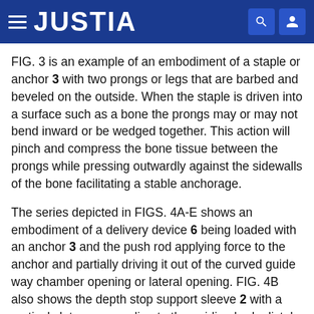JUSTIA
FIG. 3 is an example of an embodiment of a staple or anchor 3 with two prongs or legs that are barbed and beveled on the outside. When the staple is driven into a surface such as a bone the prongs may or may not bend inward or be wedged together. This action will pinch and compress the bone tissue between the prongs while pressing outwardly against the sidewalls of the bone facilitating a stable anchorage.
The series depicted in FIGS. 4A-E shows an embodiment of a delivery device 6 being loaded with an anchor 3 and the push rod applying force to the anchor and partially driving it out of the curved guide way chamber opening or lateral opening. FIG. 4B also shows the depth stop support sleeve 2 with a vertical slot corresponding to the guiding body distal slot which is aligned with the midline of the anchor and can be used to precisely